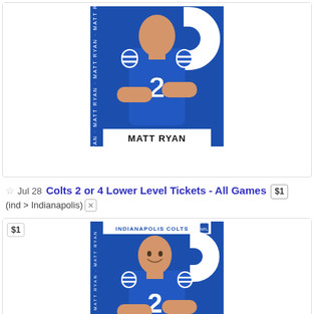[Figure (illustration): Illustrated promotional card of Matt Ryan in Indianapolis Colts blue uniform #2 with arms crossed, with 'MATT RYAN' text at bottom]
☆ Jul 28 Colts 2 or 4 Lower Level Tickets - All Games $1 (ind > Indianapolis) ✕
[Figure (illustration): Second illustrated promotional card of Matt Ryan in Indianapolis Colts blue uniform #2, smiling with arms crossed, INDIANAPOLIS COLTS header at top with NFL logo, 'MATT RYAN' text at bottom]